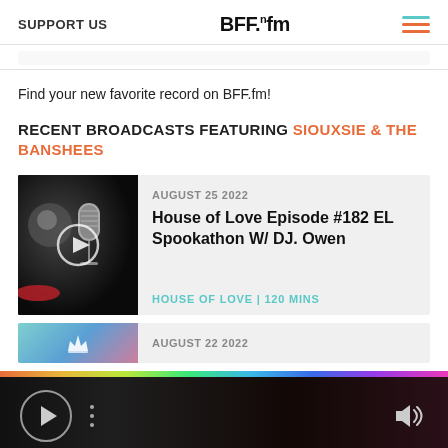SUPPORT US | BFF.fm
Find your new favorite record on BFF.fm!
RECENT BROADCASTS FEATURING SIOUXSIE & THE BANSHEES
[Figure (screenshot): Broadcast card for House of Love Episode #182 EL Spookathon W/ DJ. Owen, dated August 25 2022, with a microphone thumbnail image and play button overlay. Show listed as HOUSE OF LOVE | 120 MINS]
[Figure (screenshot): Partial broadcast card showing colorful thumbnail with crown icon, dated August 22 2022]
[Figure (screenshot): Audio player bar with play button, dots menu, and volume icon on dark gradient background]